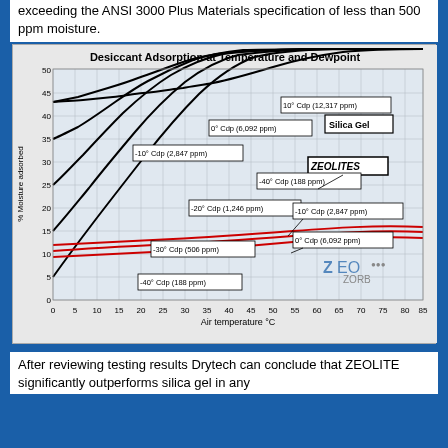exceeding the ANSI 3000 Plus Materials specification of less than 500 ppm moisture.
[Figure (continuous-plot): Chart showing % Moisture adsorbed (y-axis, 0-50) vs Air temperature °C (x-axis, 0-85) for Silica Gel (black curves) and Zeolites (red curves) at various dewpoints: 10° Cdp (12,317 ppm), 0° Cdp (6,092 ppm), -10° Cdp (2,847 ppm), -20° Cdp (1,246 ppm), -30° Cdp (506 ppm), -40° Cdp (188 ppm). Zeolites labeled with -40° Cdp (188 ppm), -10° Cdp (2,847 ppm), 0° Cdp (6,092 ppm).]
After reviewing testing results Drytech can conclude that ZEOLITE significantly outperforms silica gel in any